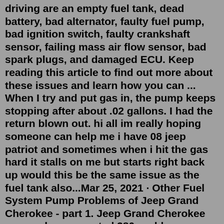driving are an empty fuel tank, dead battery, bad alternator, faulty fuel pump, bad ignition switch, faulty crankshaft sensor, failing mass air flow sensor, bad spark plugs, and damaged ECU. Keep reading this article to find out more about these issues and learn how you can ... When I try and put gas in, the pump keeps stopping after about .02 gallons. I had the return blown out. hi all im really hoping someone can help me i have 08 jeep patriot and sometimes when i hit the gas hard it stalls on me but starts right back up would this be the same issue as the fuel tank also...Mar 25, 2021 · Other Fuel System Pump Problems of Jeep Grand Cherokee - part 1. Jeep Grand Cherokee owners have reported 280 problems related to other fuel system pump (under the other fuel system category). The most recently reported issues are listed below. Also please check out the statistics and reliability analysis of Jeep Grand Cherokee based on all ... The 2011 Jeep Grand Cherokee offers questionable reliability, with six recalls, five investigations, and 1,500 registered